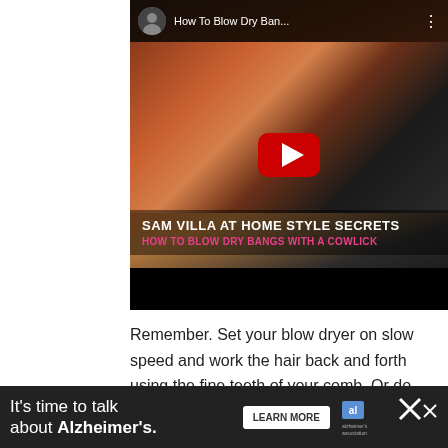[Figure (screenshot): YouTube video thumbnail showing a woman with red/auburn hair being styled with a blow dryer and flat brush. Title bar reads 'How To Blow Dry Ban...' with a channel avatar. Large red YouTube play button in center. Overlay text: 'SAM VILLA AT HOME STYLE SECRETS' in white bold uppercase, and 'HOW TO BLOW DRY BANGS WITH A COWLICK' in pink/magenta uppercase. Black bar at bottom.]
Remember. Set your blow dryer on slow speed and work the hair back and forth using the fine teeth of your comb. Or do the much the same
[Figure (screenshot): Advertisement banner: dark background with white text 'It's time to talk about Alzheimer's.' with a 'LEARN MORE' button and Alzheimer's Association logo. Close/X button on right.]